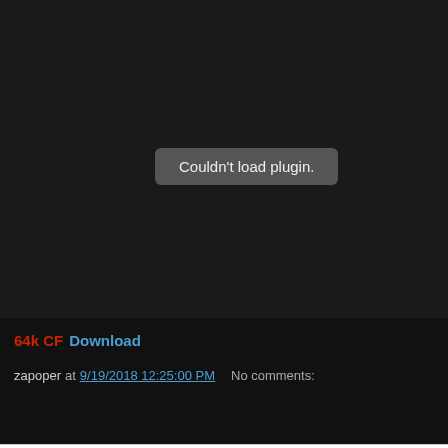[Figure (screenshot): Black media player area showing 'Couldn't load plugin.' error message in a grey rounded box]
64k CF Download
zapoper at 9/19/2018 12:25:00 PM   No comments:
Share
The David Duke Show 2018.09.19
Dr. David Ernest Duke